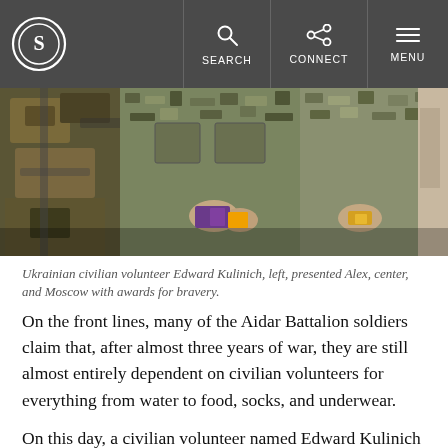Snopes | SEARCH | CONNECT | MENU
[Figure (photo): Three soldiers in camouflage uniforms standing close together. The center soldier is holding small items. A fourth person is partially visible on the right.]
Ukrainian civilian volunteer Edward Kulinich, left, presented Alex, center, and Moscow with awards for bravery.
On the front lines, many of the Aidar Battalion soldiers claim that, after almost three years of war, they are still almost entirely dependent on civilian volunteers for everything from water to food, socks, and underwear.
On this day, a civilian volunteer named Edward Kulinich has brought some gifts and supplies, which go